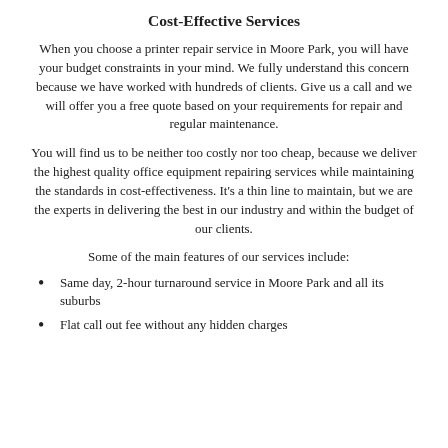Cost-Effective Services
When you choose a printer repair service in Moore Park, you will have your budget constraints in your mind. We fully understand this concern because we have worked with hundreds of clients. Give us a call and we will offer you a free quote based on your requirements for repair and regular maintenance.
You will find us to be neither too costly nor too cheap, because we deliver the highest quality office equipment repairing services while maintaining the standards in cost-effectiveness. It's a thin line to maintain, but we are the experts in delivering the best in our industry and within the budget of our clients.
Some of the main features of our services include:
Same day, 2-hour turnaround service in Moore Park and all its suburbs
Flat call out fee without any hidden charges